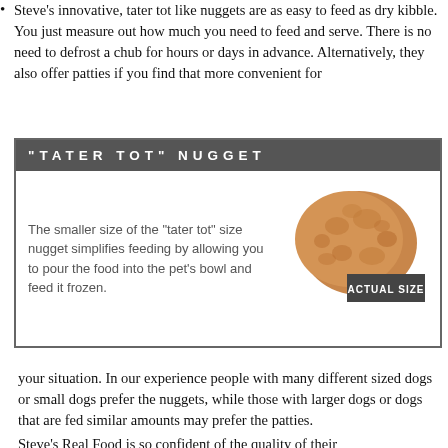Steve's innovative, tater tot like nuggets are as easy to feed as dry kibble. You just measure out how much you need to feed and serve. There is no need to defrost a chub for hours or days in advance. Alternatively, they also offer patties if you find that more convenient for
[Figure (infographic): Dark grey header box reading "TATER TOT" NUGGET with a white body containing text about the smaller nugget size and an illustration of a nugget with ACTUAL SIZE label.]
your situation. In our experience people with many different sized dogs or small dogs prefer the nuggets, while those with larger dogs or dogs that are fed similar amounts may prefer the patties.
Steve's Real Food is so confident of the quality of their